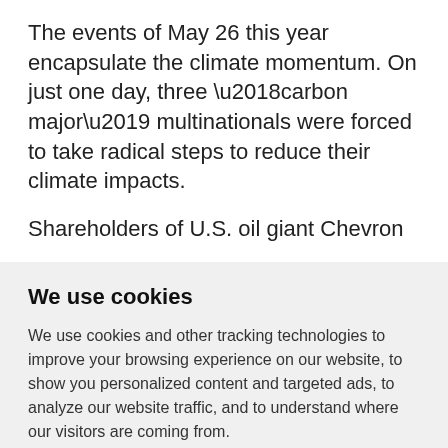The events of May 26 this year encapsulate the climate momentum. On just one day, three ‘carbon major’ multinationals were forced to take radical steps to reduce their climate impacts.
Shareholders of U.S. oil giant Chevron
We use cookies
We use cookies and other tracking technologies to improve your browsing experience on our website, to show you personalized content and targeted ads, to analyze our website traffic, and to understand where our visitors are coming from.